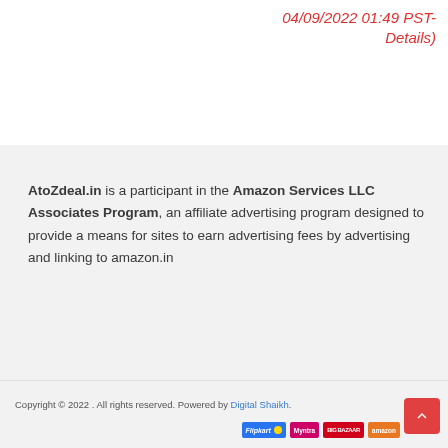04/09/2022 01:49 PST- Details)
AtoZdeal.in is a participant in the Amazon Services LLC Associates Program, an affiliate advertising program designed to provide a means for sites to earn advertising fees by advertising and linking to amazon.in
Copyright © 2022 . All rights reserved. Powered by Digital Shaikh.